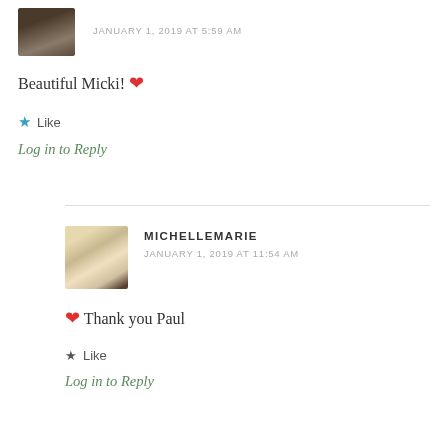[Figure (photo): Small avatar photo of a person outdoors]
JANUARY 1, 2019 AT 5:59 AM
Beautiful Micki! ❤
★ Like
Log in to Reply
[Figure (photo): Avatar photo of a blonde woman smiling]
MICHELLEMARIE
JANUARY 1, 2019 AT 11:54 AM
❤ Thank you Paul
★ Like
Log in to Reply